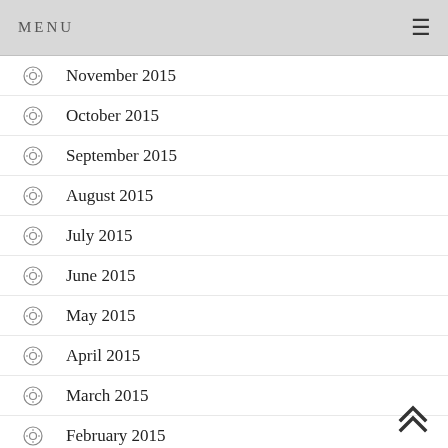MENU
November 2015
October 2015
September 2015
August 2015
July 2015
June 2015
May 2015
April 2015
March 2015
February 2015